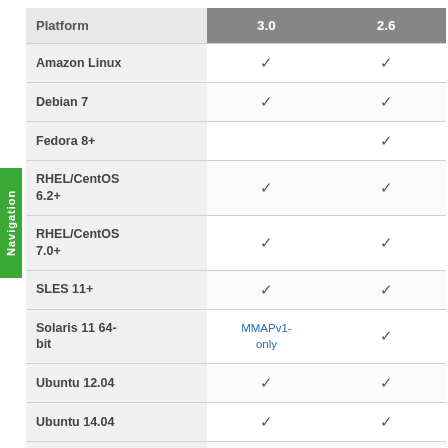| Platform | 3.0 | 2.6 |
| --- | --- | --- |
| Amazon Linux | ✓ | ✓ |
| Debian 7 | ✓ | ✓ |
| Fedora 8+ |  | ✓ |
| RHEL/CentOS 6.2+ | ✓ | ✓ |
| RHEL/CentOS 7.0+ | ✓ | ✓ |
| SLES 11+ | ✓ | ✓ |
| Solaris 11 64-bit | MMAPv1-only | ✓ |
| Ubuntu 12.04 | ✓ | ✓ |
| Ubuntu 14.04 | ✓ | ✓ |
| Microsoft Azure | ✓ | ✓ |